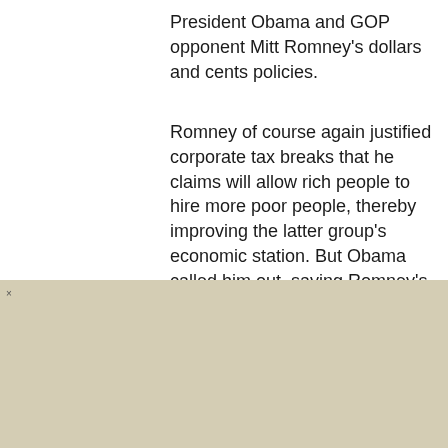President Obama and GOP opponent Mitt Romney's dollars and cents policies.
Romney of course again justified corporate tax breaks that he claims will allow rich people to hire more poor people, thereby improving the latter group's economic station. But Obama called him out, saying Romney's plan was simply the rehashing of a Reagan-era "trickle down" economics.